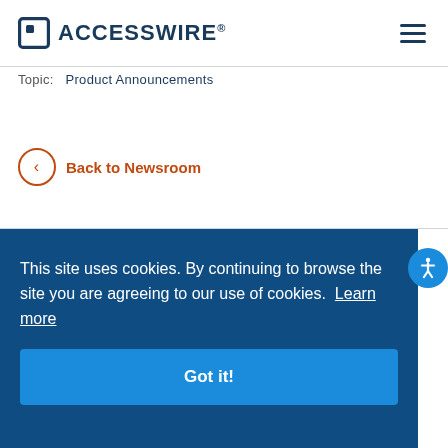ACCESSWIRE
Topic:  Product Announcements
Back to Newsroom
This site uses cookies. By continuing to browse the site you are agreeing to our use of cookies. Learn more
Got it!